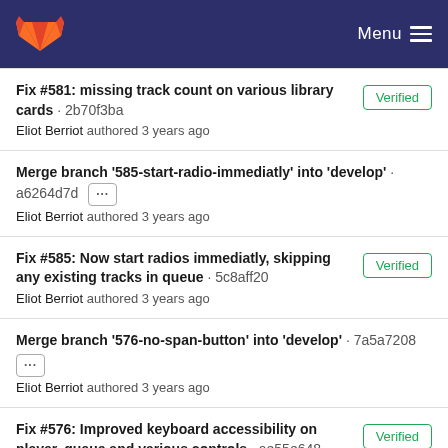GitLab Menu
Fix #581: missing track count on various library cards · 2b70f3ba
Eliot Berriot authored 3 years ago
[Verified]
Merge branch '585-start-radio-immediatly' into 'develop' · a6264d7d [...]
Eliot Berriot authored 3 years ago
Fix #585: Now start radios immediatly, skipping any existing tracks in queue · 5c8aff20
Eliot Berriot authored 3 years ago
[Verified]
Merge branch '576-no-span-button' into 'develop' · 7a5a7208 [...]
Eliot Berriot authored 3 years ago
Fix #576: Improved keyboard accessibility on player, queue and various controls · ae55e648
Eliot Berriot authored 3 ...